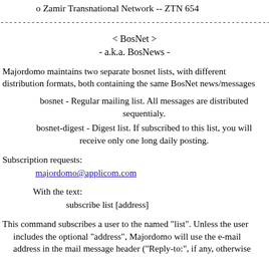o Zamir Transnational Network -- ZTN 654
------------------------------------------------------------------------
< BosNet >
- a.k.a. BosNews -
Majordomo maintains two separate bosnet lists, with different distribution formats, both containing the same BosNet news/messages
bosnet - Regular mailing list. All messages are distributed sequentialy.
bosnet-digest - Digest list. If subscribed to this list, you will receive only one long daily posting.
Subscription requests:
    majordomo@applicom.com
With the text:
        subscribe list [address]
This command subscribes a user to the named "list". Unless the user includes the optional "address", Majordomo will use the e-mail address in the mail message header ("Reply-to:", if any, otherwise